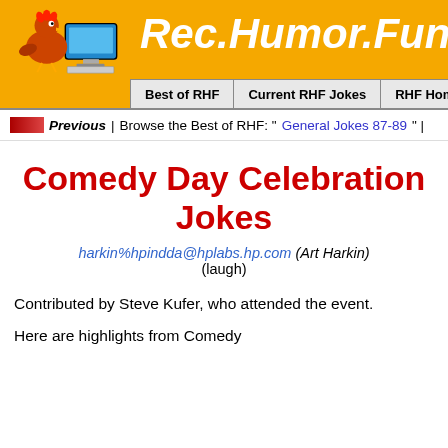[Figure (screenshot): Rec.Humor.Funny website header banner with orange background, cartoon chicken/computer illustration on left, white italic bold title 'Rec.Humor.Funny J...' on right, navigation bar below with: Best of RHF, Current RHF Jokes, RHF Home, Se...]
Previous | Browse the Best of RHF: "General Jokes 87-89" |
Comedy Day Celebration Jokes
harkin%hpindda@hplabs.hp.com (Art Harkin)
(laugh)
Contributed by Steve Kufer, who attended the event.
Here are highlights from Comedy